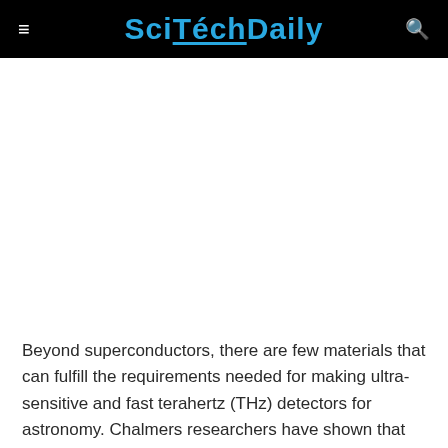SciTechDaily
Beyond superconductors, there are few materials that can fulfill the requirements needed for making ultra-sensitive and fast terahertz (THz) detectors for astronomy. Chalmers researchers have shown that engineered